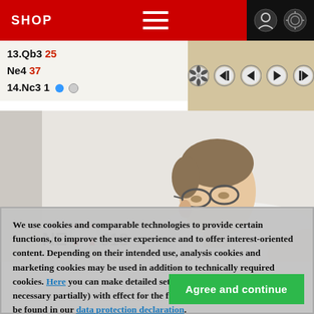SHOP
13.Qb3 25
Ne4 37
14.Nc3 1
[Figure (screenshot): Navigation controls bar with a fan/settings icon and four playback control buttons (skip-back, back, forward, skip-forward) on a beige/tan background]
[Figure (photo): A young man with glasses wearing a white t-shirt, seen in profile/side view, apparently concentrating, with a NE logo/banner visible in the background]
We use cookies and comparable technologies to provide certain functions, to improve the user experience and to offer interest-oriented content. Depending on their intended use, analysis cookies and marketing cookies may be used in addition to technically required cookies. Here you can make detailed settings or revoke your consent (if necessary partially) with effect for the future. Further information can be found in our data protection declaration.
Agree and continue